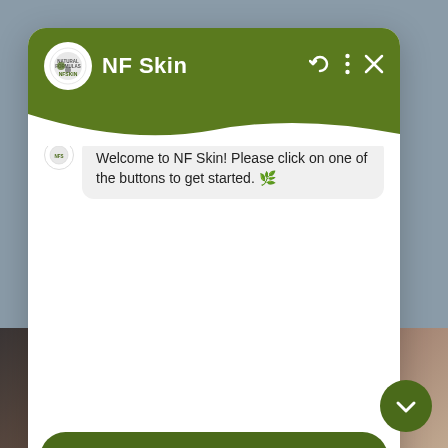[Figure (screenshot): NF Skin chatbot widget interface showing a green header with logo and brand name, a welcome message bubble, three green rounded buttons (Chat with us, Call now, What we do), and a powered-by footer. Background shows a partial photo of a person's face/skin.]
NF Skin
Welcome to NF Skin! Please click on one of the buttons to get started. 🌿
Chat with us 💬
Call now 📞
What we do 🔍
We're ⚡by GP Chat